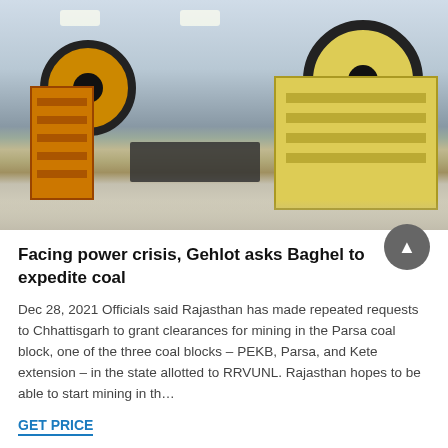[Figure (photo): Industrial mining/crushing equipment (jaw crushers) in yellow color inside a large factory/warehouse facility]
Facing power crisis, Gehlot asks Baghel to expedite coal
Dec 28, 2021 Officials said Rajasthan has made repeated requests to Chhattisgarh to grant clearances for mining in the Parsa coal block, one of the three coal blocks – PEKB, Parsa, and Kete extension – in the state allotted to RRVUNL. Rajasthan hopes to be able to start mining in th…
GET PRICE